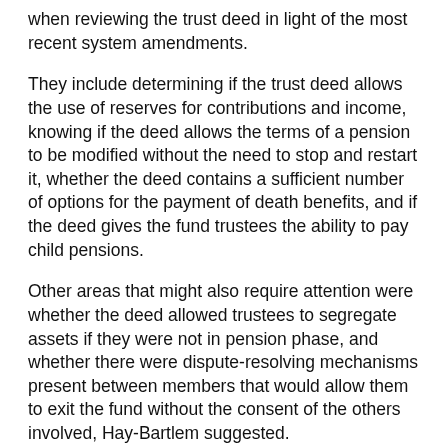when reviewing the trust deed in light of the most recent system amendments.
They include determining if the trust deed allows the use of reserves for contributions and income, knowing if the deed allows the terms of a pension to be modified without the need to stop and restart it, whether the deed contains a sufficient number of options for the payment of death benefits, and if the deed gives the fund trustees the ability to pay child pensions.
Other areas that might also require attention were whether the deed allowed trustees to segregate assets if they were not in pension phase, and whether there were dispute-resolving mechanisms present between members that would allow them to exit the fund without the consent of the others involved, Hay-Bartlem suggested.
“As with everything with SMSFs, it is important to ensure the trust deed will allow you to do the things you want to do and